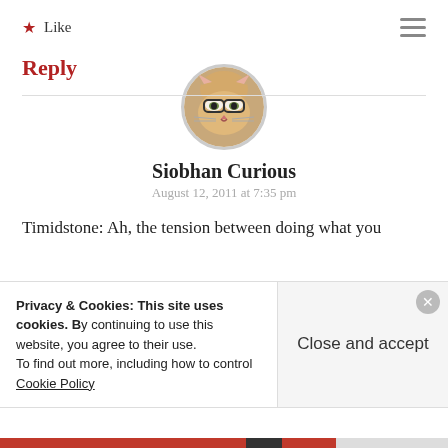★ Like
Reply
[Figure (photo): Circular avatar photo of a cat wearing glasses]
Siobhan Curious
August 12, 2011 at 7:35 pm
Timidstone: Ah, the tension between doing what you
Privacy & Cookies: This site uses cookies. By continuing to use this website, you agree to their use. To find out more, including how to control cookies, see here: Cookie Policy
Close and accept